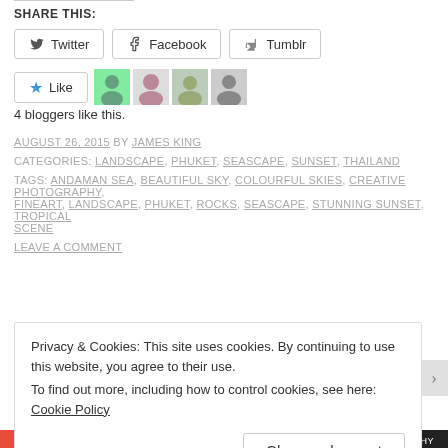SHARE THIS:
[Figure (screenshot): Share buttons row: Twitter, Facebook, Tumblr]
[Figure (screenshot): Like button with 4 blogger avatars]
4 bloggers like this.
AUGUST 26, 2015 BY JAMES KING
CATEGORIES: LANDSCAPE, PHUKET, SEASCAPE, SUNSET, THAILAND
TAGS: ANDAMAN SEA, BEAUTIFUL SKY, COLOURFUL SKIES, CREATIVE PHOTOGRAPHY, FINEART, LANDSCAPE, PHUKET, ROCKS, SEASCAPE, STUNNING SUNSET, TROPICAL SCENE
LEAVE A COMMENT
Privacy & Cookies: This site uses cookies. By continuing to use this website, you agree to their use.
To find out more, including how to control cookies, see here: Cookie Policy